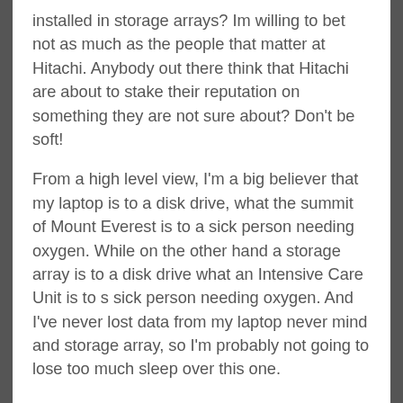installed in storage arrays?  Im willing to bet not as much as the people that matter at Hitachi.  Anybody out there think that Hitachi are about to stake their reputation on something they are not sure about?  Don't be soft!
From a high level view, I'm a big believer that my laptop is to a disk drive, what the summit of Mount Everest is to a sick person needing oxygen.  While on the other hand a storage array is to a disk drive what an Intensive Care Unit is to s sick person needing oxygen.  And I've never lost data from my laptop never mind and storage array, so I'm probably not going to lose too much sleep over this one.
I think a good place to start with this technology will be disk groups dedicated to staging backups before being spooled off to tape.  If it proves itself there, lets move it